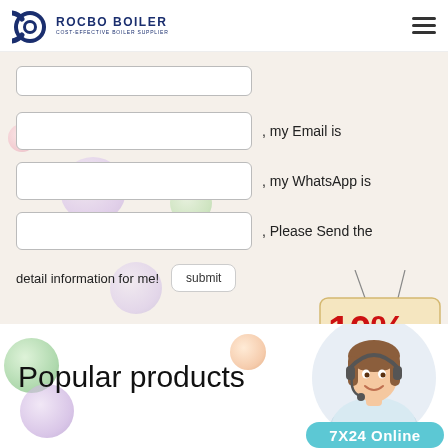ROCBO BOILER - COST-EFFECTIVE BOILER SUPPLIER
[Figure (infographic): Contact form with input fields for email, WhatsApp, and a submit button, with a 10% Discount hanging sign overlay]
, my Email is
, my WhatsApp is
, Please Send the detail information for me!
Popular products
[Figure (photo): Customer service representative wearing headset, smiling, in circular frame, with 7X24 Online banner below]